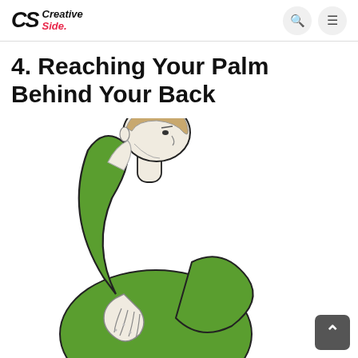CS Creative Side.
4. Reaching Your Palm Behind Your Back
[Figure (illustration): Illustration of a person wearing a green long-sleeve shirt reaching their palm/hand behind their back, with one arm raised overhead and the hand reaching down behind the back. The figure is drawn in a simple line-art style with green fill for the clothing.]